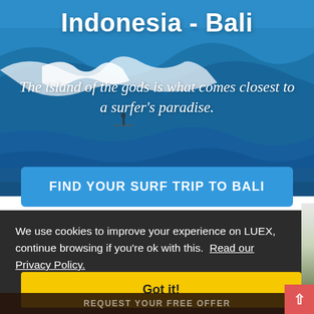[Figure (photo): Ocean surfing scene in Bali with large waves and a surfer, blue water background]
Indonesia - Bali
The island of the gods is what comes closest to a surfer's paradise.
FIND YOUR SURF TRIP TO BALI
We use cookies to improve your experience on LUEX, continue browsing if you're ok with this.  Read our Privacy Policy.
Got it!
REQUEST YOUR FREE OFFER